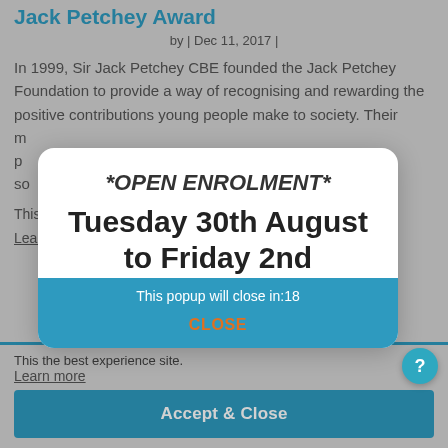Jack Petchey Award
by | Dec 11, 2017 |
In 1999, Sir Jack Petchey CBE founded the Jack Petchey Foundation to provide a way of recognising and rewarding the positive contributions young people make to society. Their m... p... so...
This... the best experience... site.
Learn more
[Figure (screenshot): Modal popup dialog with white rounded box showing open enrolment notice: '*OPEN ENROLMENT* Tuesday 30th August to Friday 2nd' with a teal footer showing 'This popup will close in:18' and a 'CLOSE' button in orange text.]
Accept & Close